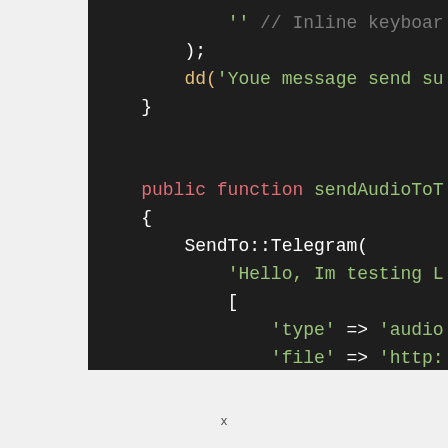[Figure (screenshot): Code editor screenshot showing PHP code with syntax highlighting on dark background. Shows closing of a function with ); and dd() call, followed by a public function sendAudioToT... with SendTo::Telegram( call and array parameters including 'type' => 'audio' and 'file' => 'http:...]
x